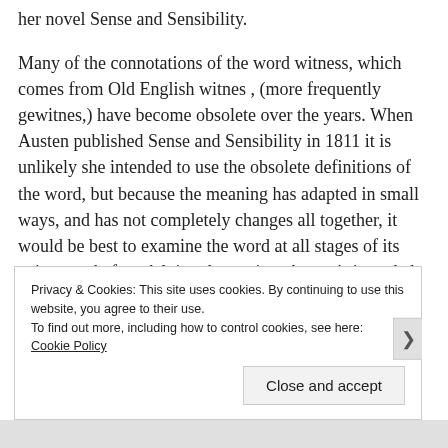her novel Sense and Sensibility.
Many of the connotations of the word witness, which comes from Old English witnes , (more frequently gewitnes,) have become obsolete over the years. When Austen published Sense and Sensibility in 1811 it is unlikely she intended to use the obsolete definitions of the word, but because the meaning has adapted in small ways, and has not completely changes all together, it would be best to examine the word at all stages of its existence, before delving deeper into Austen's intended use.
Privacy & Cookies: This site uses cookies. By continuing to use this website, you agree to their use.
To find out more, including how to control cookies, see here: Cookie Policy